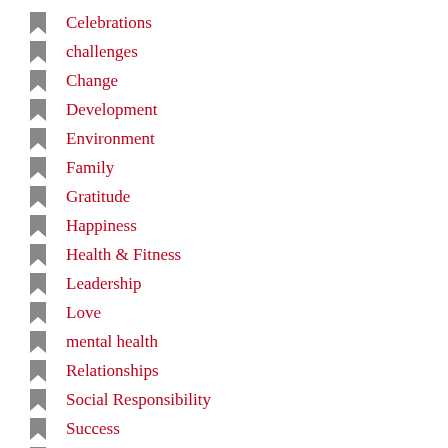Celebrations
challenges
Change
Development
Environment
Family
Gratitude
Happiness
Health & Fitness
Leadership
Love
mental health
Relationships
Social Responsibility
Success
Transformation
Travel
Uncategorized
Writing